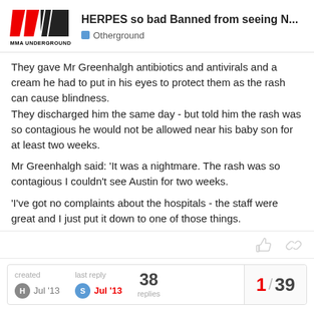MMA UNDERGROUND — HERPES so bad Banned from seeing N... — Otherground
They gave Mr Greenhalgh antibiotics and antivirals and a cream he had to put in his eyes to protect them as the rash can cause blindness.
They discharged him the same day - but told him the rash was so contagious he would not be allowed near his baby son for at least two weeks.

Mr Greenhalgh said: 'It was a nightmare. The rash was so contagious I couldn't see Austin for two weeks.

'I've got no complaints about the hospitals - the staff were great and I just put it down to one of those things.
created Jul '13 | last reply Jul '13 | 38 replies | 1 / 39